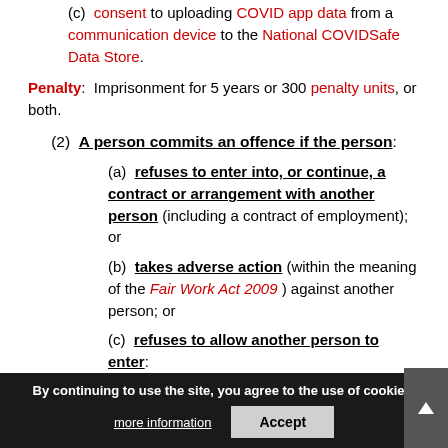(c) consent to uploading COVID app data from a communication device to the National COVIDSafe Data Store.
Penalty: Imprisonment for 5 years or 300 penalty units, or both.
(2) A person commits an offence if the person:
(a) refuses to enter into, or continue, a contract or arrangement with another person (including a contract of employment); or
(b) takes adverse action (within the meaning of the Fair Work Act 2009) against another person; or
(c) refuses to allow another person to enter:
(i) premises that are otherwise accessible to the public; or
(ii) premises to which the person has a right to enter; or